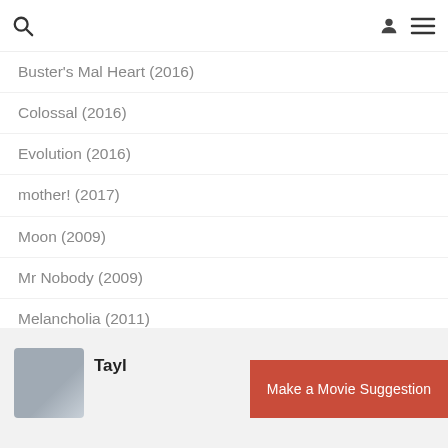[search icon] [user icon] [menu icon]
Buster's Mal Heart (2016)
Colossal (2016)
Evolution (2016)
mother! (2017)
Moon (2009)
Mr Nobody (2009)
Melancholia (2011)
[Figure (photo): User avatar photo of Taylor, partially cropped, wearing a hat]
Tayl
Make a Movie Suggestion